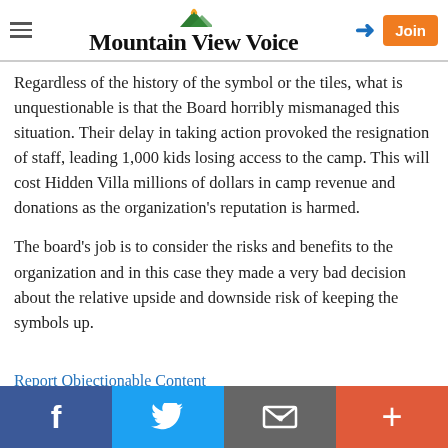Mountain View Voice
Regardless of the history of the symbol or the tiles, what is unquestionable is that the Board horribly mismanaged this situation. Their delay in taking action provoked the resignation of staff, leading 1,000 kids losing access to the camp. This will cost Hidden Villa millions of dollars in camp revenue and donations as the organization's reputation is harmed.
The board's job is to consider the risks and benefits to the organization and in this case they made a very bad decision about the relative upside and downside risk of keeping the symbols up.
Report Objectionable Content